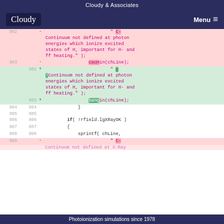Cloudy & Associates
[Figure (screenshot): Cloudy logo navigation bar with Menu hamburger icon on dark navy background]
Code diff view showing lines 802-809 of source code with removed (red) and added (green) lines. Removed: caunin(chLine); Added: bangin(chLine); Context lines show closing brace, blank line, if(!rfield.lgXRayOK), opening brace, sprintf(chLine,
Photoionization simulations since 1978